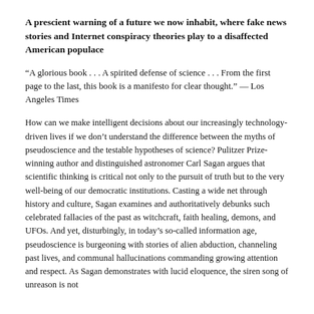A prescient warning of a future we now inhabit, where fake news stories and Internet conspiracy theories play to a disaffected American populace
“A glorious book . . . A spirited defense of science . . . From the first page to the last, this book is a manifesto for clear thought.” — Los Angeles Times
How can we make intelligent decisions about our increasingly technology-driven lives if we don’t understand the difference between the myths of pseudoscience and the testable hypotheses of science? Pulitzer Prize-winning author and distinguished astronomer Carl Sagan argues that scientific thinking is critical not only to the pursuit of truth but to the very well-being of our democratic institutions. Casting a wide net through history and culture, Sagan examines and authoritatively debunks such celebrated fallacies of the past as witchcraft, faith healing, demons, and UFOs. And yet, disturbingly, in today’s so-called information age, pseudoscience is burgeoning with stories of alien abduction, channeling past lives, and communal hallucinations commanding growing attention and respect. As Sagan demonstrates with lucid eloquence, the siren song of unreason is not